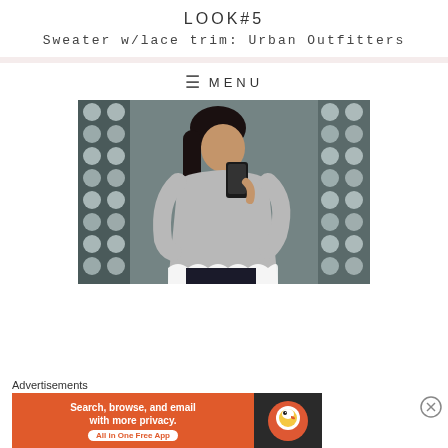LOOK#5
Sweater w/lace trim: Urban Outfitters
≡  MENU
[Figure (photo): Person taking a mirror selfie wearing a grey sweater with lace trim, surrounded by a decorative mirror with rhinestone/crystal embellishments]
Advertisements
[Figure (other): DuckDuckGo advertisement banner: 'Search, browse, and email with more privacy. All in One Free App' with DuckDuckGo logo on dark right panel]